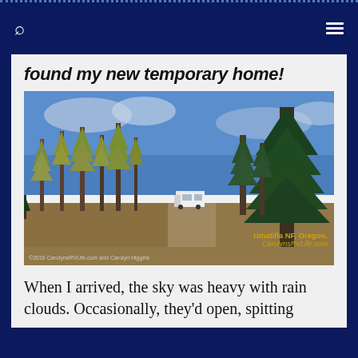found my new temporary home!
[Figure (photo): An RV parked on a dirt forest road surrounded by tall pine and larch trees under a partly cloudy blue sky at Umatilla NF, Oregon. Copyright 2016 CarolynsRVLife.com and Carolyn Higgins.]
When I arrived, the sky was heavy with rain clouds. Occasionally, they'd open, spitting